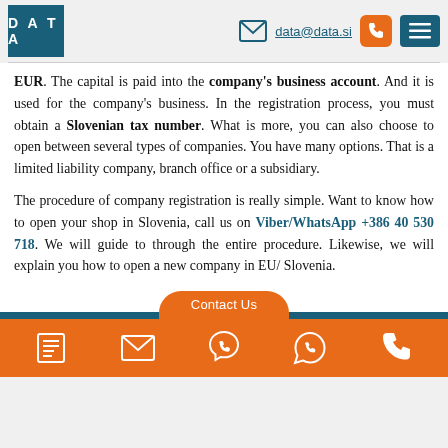DATA | data@data.si
EUR. The capital is paid into the company's business account. And it is used for the company's business. In the registration process, you must obtain a Slovenian tax number. What is more, you can also choose to open between several types of companies. You have many options. That is a limited liability company, branch office or a subsidiary.
The procedure of company registration is really simple. Want to know how to open your shop in Slovenia, call us on Viber/WhatsApp +386 40 530 718. We will guide to through the entire procedure. Likewise, we will explain you how to open a new company in EU/ Slovenia.
Contact Us | footer icons